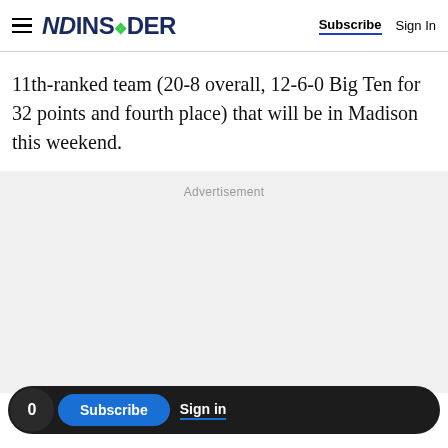NDINSiDER | Subscribe  Sign In
11th-ranked team (20-8 overall, 12-6-0 Big Ten for 32 points and fourth place) that will be in Madison this weekend.
Advertisement